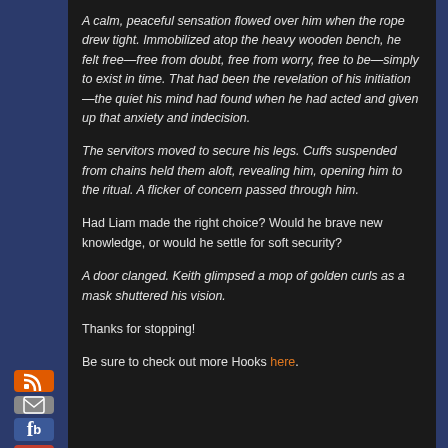A calm, peaceful sensation flowed over him when the rope drew tight. Immobilized atop the heavy wooden bench, he felt free—free from doubt, free from worry, free to be—simply to exist in time. That had been the revelation of his initiation—the quiet his mind had found when he had acted and given up that anxiety and indecision.
The servitors moved to secure his legs. Cuffs suspended from chains held them aloft, revealing him, opening him to the ritual. A flicker of concern passed through him.
Had Liam made the right choice? Would he brave new knowledge, or would he settle for soft security?
A door clanged. Keith glimpsed a mop of golden curls as a mask shuttered his vision.
Thanks for stopping!
Be sure to check out more Hooks here.